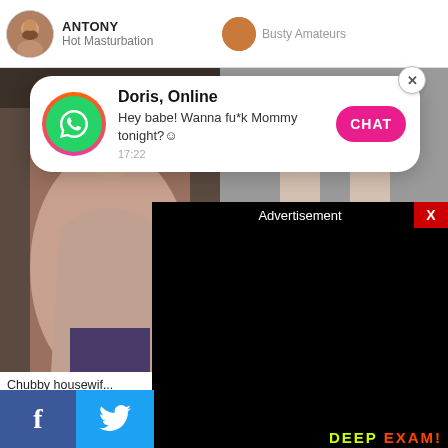[Figure (screenshot): Top bar with user avatar and username ANTONY, Hot Masturbation; and right side showing Busty Amateurs]
[Figure (screenshot): WhatsApp-style notification popup: Doris, Online - Hey babe! Wanna fu*k Mommy tonight? emoji - 17:22 - CHAT button]
[Figure (photo): Left thumbnail: chubby housewife nude photo]
[Figure (photo): Right thumbnail: legs/body photo]
Chubby housewif... strips her clothes
[Figure (screenshot): Advertisement black overlay with X close button]
[Figure (screenshot): Social share bar: Facebook and Twitter icons]
DEEP EXAM!